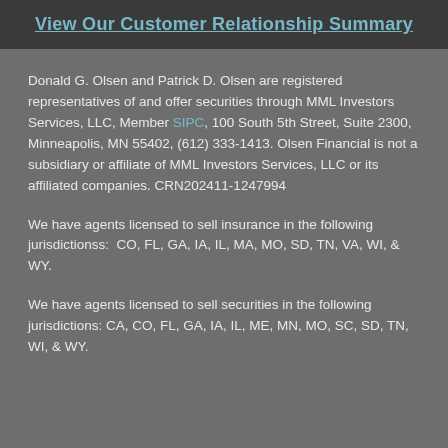View Our Customer Relationship Summary
Donald G. Olsen and Patrick D. Olsen are registered representatives of and offer securities through MML Investors Services, LLC, Member SIPC, 100 South 5th Street, Suite 2300, Minneapolis, MN 55402, (612) 333-1413. Olsen Financial is not a subsidiary or affiliate of MML Investors Services, LLC or its affiliated companies. CRN202411-1247994
We have agents licensed to sell insurance in the following jurisdictionss:  CO, FL, GA, IA, IL, MA, MO, SD, TN, VA, WI, & WY.
We have agents licensed to sell securities in the following jurisdictions: CA, CO, FL, GA, IA, IL, ME, MN, MO, SC, SD, TN, WI, & WY.